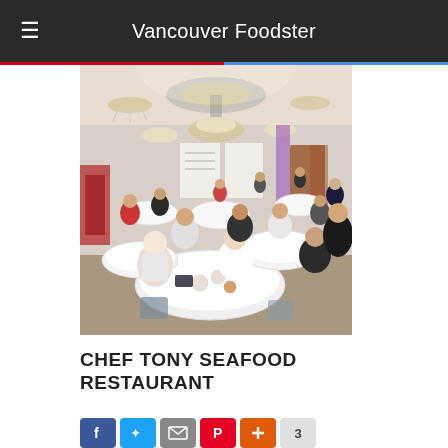Vancouver Foodster
[Figure (photo): Interior of Chef Tony Seafood Restaurant showing diners seated at round tables with white tablecloths under ornate crystal chandeliers]
CHEF TONY SEAFOOD RESTAURANT